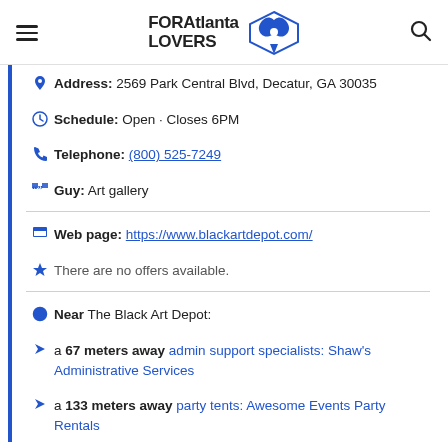FORAtlanta LOVERS
Address: 2569 Park Central Blvd, Decatur, GA 30035
Schedule: Open · Closes 6PM
Telephone: (800) 525-7249
Guy: Art gallery
Web page: https://www.blackartdepot.com/
There are no offers available.
Near The Black Art Depot:
a 67 meters away admin support specialists: Shaw's Administrative Services
a 133 meters away party tents: Awesome Events Party Rentals